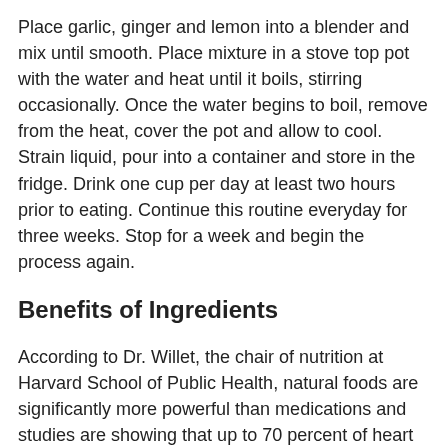Place garlic, ginger and lemon into a blender and mix until smooth. Place mixture in a stove top pot with the water and heat until it boils, stirring occasionally. Once the water begins to boil, remove from the heat, cover the pot and allow to cool. Strain liquid, pour into a container and store in the fridge. Drink one cup per day at least two hours prior to eating. Continue this routine everyday for three weeks. Stop for a week and begin the process again.
Benefits of Ingredients
According to Dr. Willet, the chair of nutrition at Harvard School of Public Health, natural foods are significantly more powerful than medications and studies are showing that up to 70 percent of heart disease is able to be prevented with the appropriate routine. Lemon juice, garlic and apple cider vinegar have all been linked to tremendous health benefits for the heart and many other functions. And, ginger is also linked to improve heart health according to numerous studies, including a recent one at the University of Maryland.